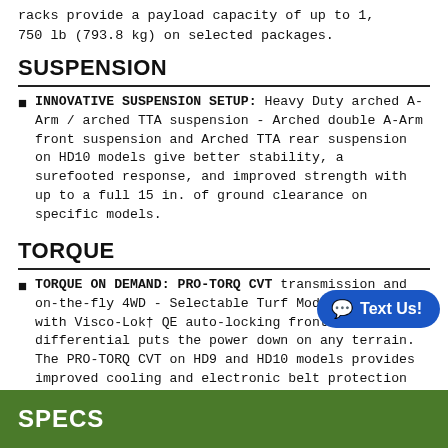racks provide a payload capacity of up to 1,750 lb (793.8 kg) on selected packages.
SUSPENSION
INNOVATIVE SUSPENSION SETUP: Heavy Duty arched A-Arm / arched TTA suspension - Arched double A-Arm front suspension and Arched TTA rear suspension on HD10 models give better stability, a surefooted response, and improved strength with up to a full 15 in. of ground clearance on specific models.
TORQUE
TORQUE ON DEMAND: PRO-TORQ CVT transmission and on-the-fly 4WD - Selectable Turf Mode / 2WD / 4WD with Visco-Lok† QE auto-locking front differential puts the power down on any terrain. The PRO-TORQ CVT on HD9 and HD10 models provides improved cooling and electronic belt protection for more durability.
SPECS